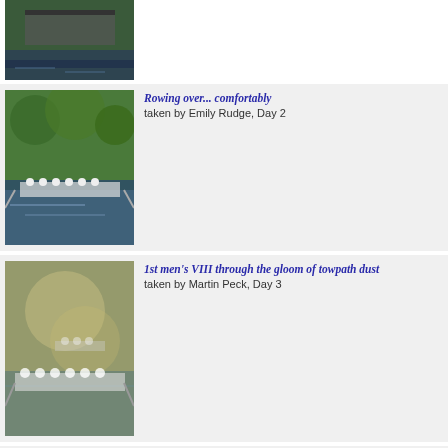[Figure (photo): Partial rowing photo at top of page, rowers on water]
[Figure (photo): Rowing team on water, trees in background]
Rowing over... comfortably
taken by Emily Rudge, Day 2
[Figure (photo): 1st men's VIII rowing through dusty towpath]
1st men's VIII through the gloom of towpath dust
taken by Martin Peck, Day 3
[Figure (photo): Rowing crew on top of Jesus into Grassy]
On top of Jesus into Grassy
taken by Martin Peck, Day 3
[Figure (photo): Partial rowing photo at bottom of page]